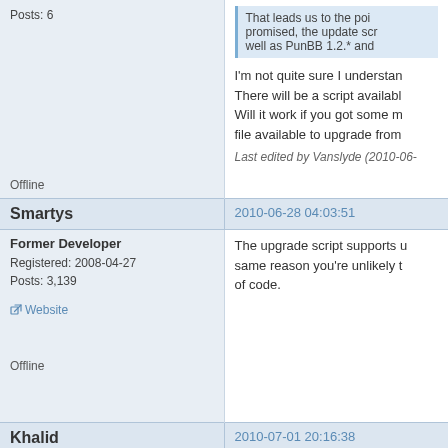Posts: 6
That leads us to the poi... promised, the update scr... well as PunBB 1.2.* and
I'm not quite sure I understan... There will be a script availabl... Will it work if you got some m... file available to upgrade from
Last edited by Vanslyde (2010-06-...
Offline
Smartys
2010-06-28 04:03:51
Former Developer
Registered: 2008-04-27
Posts: 3,139
Website
The upgrade script supports u... same reason you're unlikely t... of code.
Offline
Khalid
2010-07-01 20:16:38